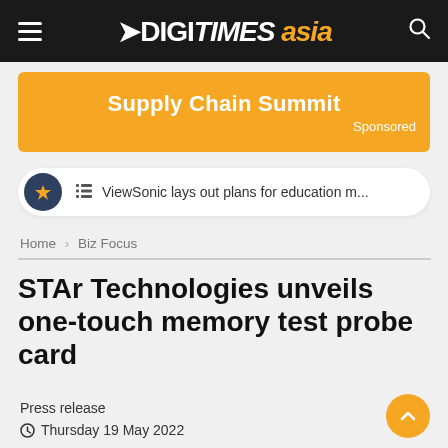DIGITIMES asia
[Figure (infographic): Supply Chain Summit sponsored ad banner in orange]
ViewSonic lays out plans for education m...
Home > Biz Focus
STAr Technologies unveils one-touch memory test probe card
Press release
Thursday 19 May 2022